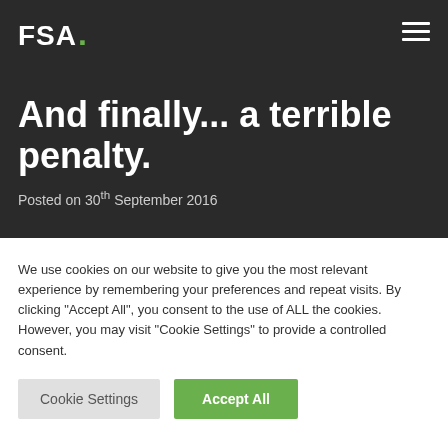FSA.
And finally... a terrible penalty.
Posted on 30th September 2016
We use cookies on our website to give you the most relevant experience by remembering your preferences and repeat visits. By clicking "Accept All", you consent to the use of ALL the cookies. However, you may visit "Cookie Settings" to provide a controlled consent.